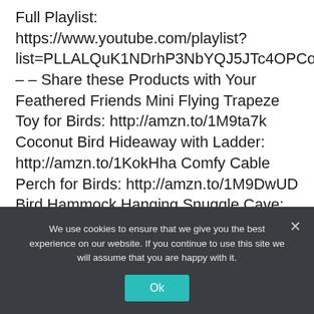Full Playlist: https://www.youtube.com/playlist?list=PLLALQuK1NDrhP3NbYQJ5JTc4OPCoQUsYD – – Share these Products with Your Feathered Friends Mini Flying Trapeze Toy for Birds: http://amzn.to/1M9ta7k Coconut Bird Hideaway with Ladder: http://amzn.to/1KokHha Comfy Cable Perch for Birds: http://amzn.to/1M9DwUD Bird Hammock Hanging Snuggle Cave: http://amzn.to/1FLbPwE ZIEIS Digital Bird Scale: http://amzn.to/1gpgqOf The Complete Pet...
Read More
We use cookies to ensure that we give you the best experience on our website. If you continue to use this site we will assume that you are happy with it.